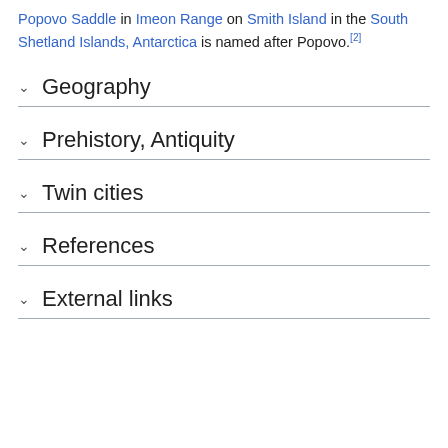Popovo Saddle in Imeon Range on Smith Island in the South Shetland Islands, Antarctica is named after Popovo.[2]
Geography
Prehistory, Antiquity
Twin cities
References
External links